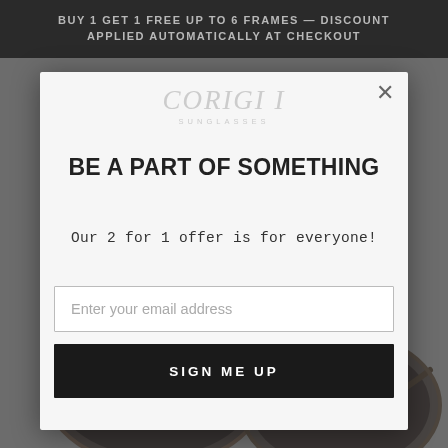BUY 1 GET 1 FREE UP TO 6 FRAMES — DISCOUNT APPLIED AUTOMATICALLY AT CHECKOUT
[Figure (screenshot): Origini Sunglasses website modal popup with logo, promotional text, email signup field and button over a blurred background showing sunglasses products.]
BE A PART OF SOMETHING
Our 2 for 1 offer is for everyone!
Enter your email address
SIGN ME UP